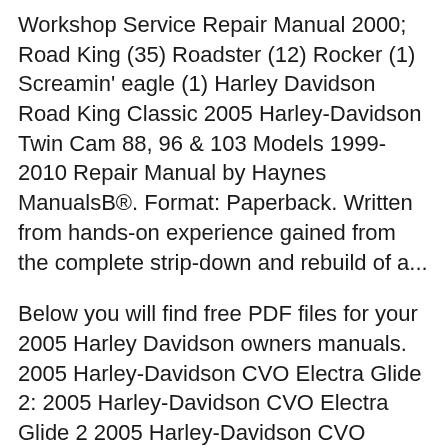Workshop Service Repair Manual 2000; Road King (35) Roadster (12) Rocker (1) Screamin' eagle (1) Harley Davidson Road King Classic 2005 Harley-Davidson Twin Cam 88, 96 & 103 Models 1999-2010 Repair Manual by Haynes ManualsB®. Format: Paperback. Written from hands-on experience gained from the complete strip-down and rebuild of a...
Below you will find free PDF files for your 2005 Harley Davidson owners manuals. 2005 Harley-Davidson CVO Electra Glide 2: 2005 Harley-Davidson CVO Electra Glide 2 2005 Harley-Davidson CVO Electra Glide 2.pdf. 2005 Harley-Davidson Road King Police